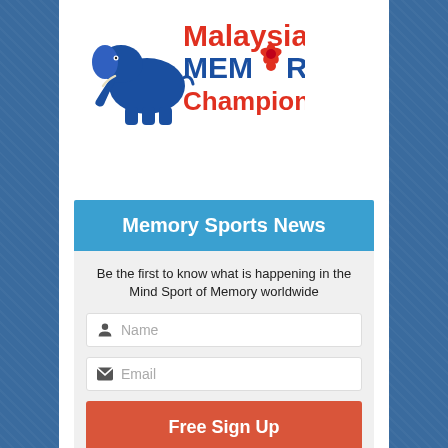[Figure (logo): Malaysia Memory Championships logo with blue elephant and red text reading 'Malaysia MEMORY Championships' with a hibiscus flower replacing the 'O']
Memory Sports News
Be the first to know what is happening in the Mind Sport of Memory worldwide
Name
Email
Free Sign Up
100% Privacy. We don't spam.